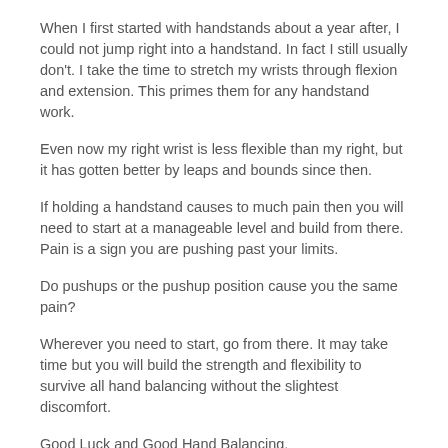When I first started with handstands about a year after, I could not jump right into a handstand. In fact I still usually don't. I take the time to stretch my wrists through flexion and extension. This primes them for any handstand work.
Even now my right wrist is less flexible than my right, but it has gotten better by leaps and bounds since then.
If holding a handstand causes to much pain then you will need to start at a manageable level and build from there. Pain is a sign you are pushing past your limits.
Do pushups or the pushup position cause you the same pain?
Wherever you need to start, go from there. It may take time but you will build the strength and flexibility to survive all hand balancing without the slightest discomfort.
Good Luck and Good Hand Balancing,
Logan Christopher
P.S. The results of the survey are still pouring in. If you haven't taken the time yet to fill it out and get your f.ree report, do so now. I can tell you that the site will be changing for the better and soon